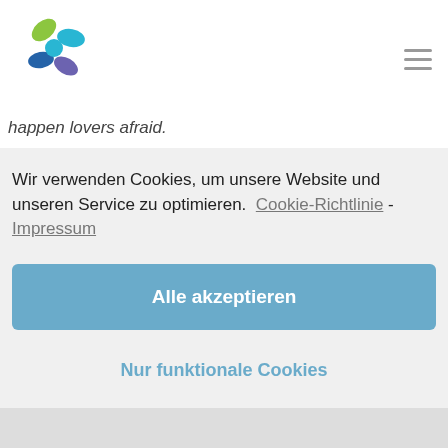[Logo] [hamburger menu icon]
happen lovers afraid.
Wir verwenden Cookies, um unsere Website und unseren Service zu optimieren.  Cookie-Richtlinie - Impressum
Alle akzeptieren
Nur funktionale Cookies
Einstellungen anzeigen